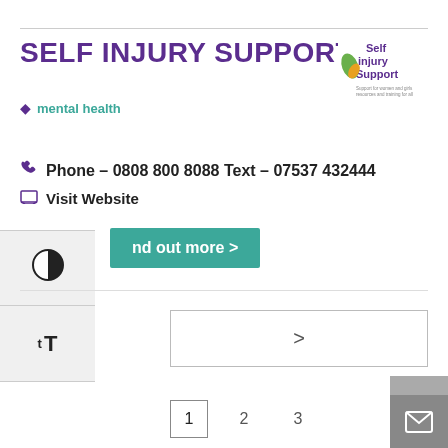SELF INJURY SUPPORT
[Figure (logo): Self Injury Support logo with green leaf and text: Support for women and girls, resources and training for all]
mental health
Phone – 0808 800 8088 Text – 07537 432444
Visit Website
Find out more >
> (navigation arrow)
1  2  3 (pagination)